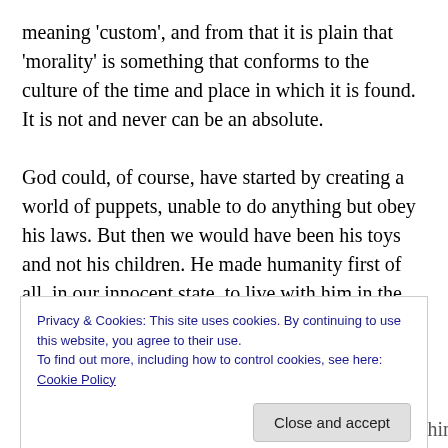meaning 'custom', and from that it is plain that 'morality' is something that conforms to the culture of the time and place in which it is found. It is not and never can be an absolute.
God could, of course, have started by creating a world of puppets, unable to do anything but obey his laws. But then we would have been his toys and not his children. He made humanity first of all, in our innocent state, to live with him in the garden that he had created. But we listened to our second teacher – the serpent – became self-aware,
Privacy & Cookies: This site uses cookies. By continuing to use this website, you agree to their use.
To find out more, including how to control cookies, see here: Cookie Policy
so this was and is a dynamic place, a place where things